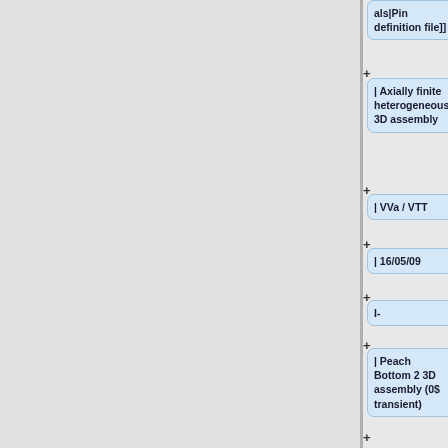[Figure (flowchart): Vertical flowchart showing wiki-style table cells with plus connectors. Cells contain: 'als|Pin definition file]]', 'Axially finite heterogeneous 3D assembly', 'VVa / VTT', '16/05/09', 'I-', 'Peach Bottom 2 3D assembly (0$ transient)', '| [[3D_PWR_assembly_transient_example#Time_dependent_simulation_.28no_reactivity_inserti']